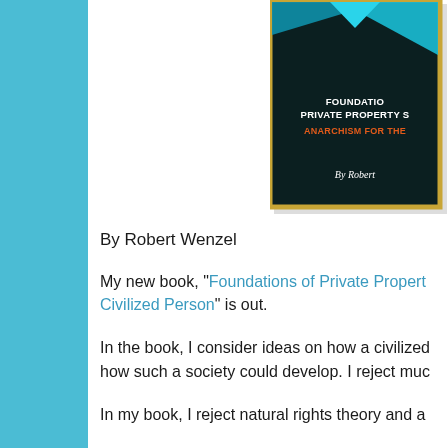[Figure (illustration): Partial book cover for 'Foundations of Private Property Society: Anarchism for the Civilized Person' by Robert Wenzel. Dark background with gold border, teal/cyan arrow graphic at top, white bold title text, red-orange subtitle text, white italic author name.]
By Robert Wenzel
My new book, "Foundations of Private Property Society: Anarchism for the Civilized Person" is out.
In the book, I consider ideas on how a civilized society could function and how such a society could develop. I reject muc…
In my book, I reject natural rights theory and a…